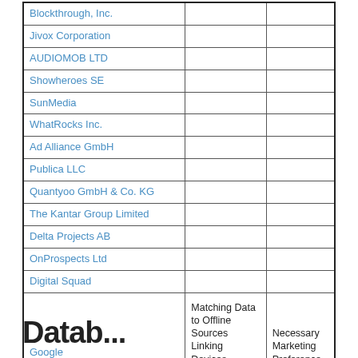|  |  |  |
| --- | --- | --- |
| Blockthrough, Inc. |  |  |
| Jivox Corporation |  |  |
| AUDIOMOB LTD |  |  |
| Showheroes SE |  |  |
| SunMedia |  |  |
| WhatRocks Inc. |  |  |
| Ad Alliance GmbH |  |  |
| Publica LLC |  |  |
| Quantyoo GmbH & Co. KG |  |  |
| The Kantar Group Limited |  |  |
| Delta Projects AB |  |  |
| OnProspects Ltd |  |  |
| Digital Squad |  |  |
| Google | Matching Data to Offline Sources Linking Devices Precise Geographic Location Data | Necessary Marketing Preference Statistics |
Databa...